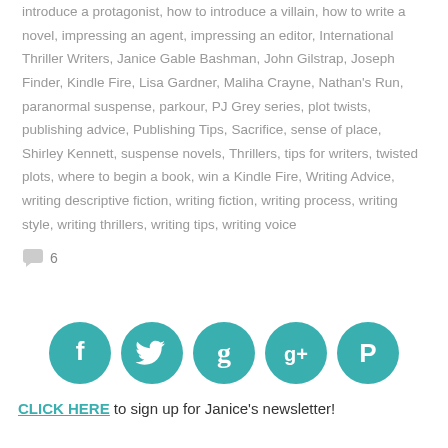introduce a protagonist, how to introduce a villain, how to write a novel, impressing an agent, impressing an editor, International Thriller Writers, Janice Gable Bashman, John Gilstrap, Joseph Finder, Kindle Fire, Lisa Gardner, Maliha Crayne, Nathan's Run, paranormal suspense, parkour, PJ Grey series, plot twists, publishing advice, Publishing Tips, Sacrifice, sense of place, Shirley Kennett, suspense novels, Thrillers, tips for writers, twisted plots, where to begin a book, win a Kindle Fire, Writing Advice, writing descriptive fiction, writing fiction, writing process, writing style, writing thrillers, writing tips, writing voice
6
[Figure (infographic): Five teal circular social media icons: Facebook, Twitter, Goodreads, Google+, Pinterest]
CLICK HERE to sign up for Janice's newsletter!